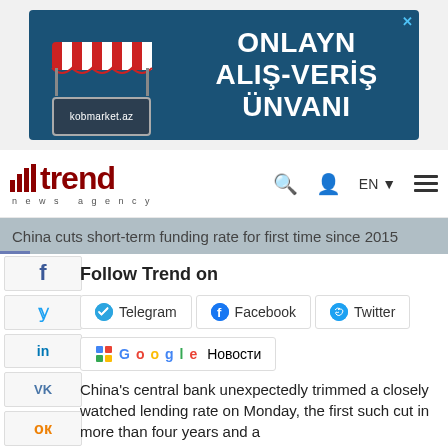[Figure (illustration): Advertisement banner for kobmarket.az - online shopping site with awning graphic and laptop icon. Text: ONLAYN ALIŞ-VERİŞ ÜNVANI]
[Figure (logo): Trend News Agency logo with bar chart icon in dark red and text 'trend news agency']
China cuts short-term funding rate for first time since 2015
Follow Trend on
Telegram  Facebook  Twitter  Google Новости
China's central bank unexpectedly trimmed a closely watched lending rate on Monday, the first such cut in more than four years and a